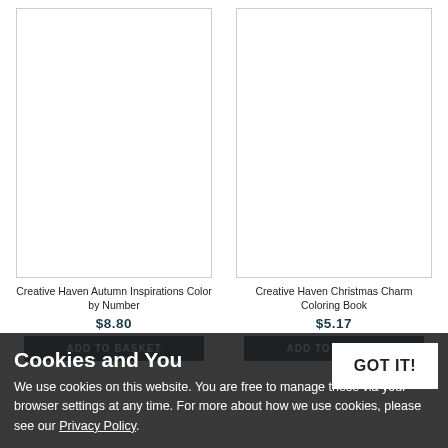[Figure (photo): Product image placeholder for Creative Haven Autumn Inspirations Color by Number book (white/blank image box)]
Creative Haven Autumn Inspirations Color by Number
$8.80
ADD TO BASKET
[Figure (photo): Product image placeholder for Creative Haven Christmas Charm Coloring Book (white/blank image box)]
Creative Haven Christmas Charm Coloring Book
$5.17
ADD TO BASKET
Cookies and You
We use cookies on this website. You are free to manage these via your browser settings at any time. For more about how we use cookies, please see our Privacy Policy.
GOT IT!